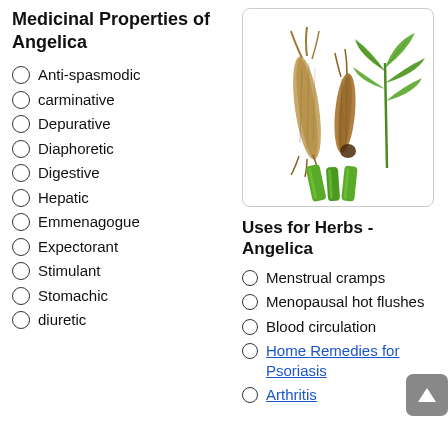Medicinal Properties of Angelica
Anti-spasmodic
carminative
Depurative
Diaphoretic
Digestive
Hepatic
Emmenagogue
Expectorant
Stimulant
Stomachic
diuretic
[Figure (photo): Photo of Angelica herb: dried roots and fresh green stems and leaves]
Uses for Herbs - Angelica
Menstrual cramps
Menopausal hot flushes
Blood circulation
Home Remedies for Psoriasis
Arthritis